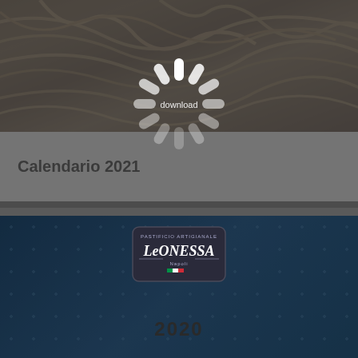[Figure (photo): Photo of pasta (likely tagliatelle or pappardelle) with a loading spinner overlay on top. The image shows pasta dishes on a dark background.]
Calendario 2021
[Figure (photo): Leonessa brand calendar cover for 2020. Blue background with circular dot pattern, featuring the Leonessa logo badge and the year 2020.]